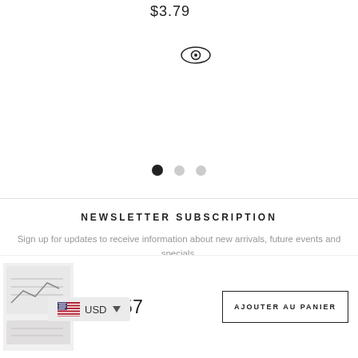$3.79
$3.88
[Figure (other): Eye/view icon (left product)]
[Figure (other): Eye/view icon (right product)]
[Figure (other): Pagination dots: one filled black dot, two light gray dots]
NEWSLETTER SUBSCRIPTION
Sign up for updates to receive information about new arrivals, future events and specials.
Enter Your Email Address
$11.57
AJOUTER AU PANIER
[Figure (other): USD currency selector with US flag]
[Figure (other): Product thumbnail image (charts/spreadsheet preview)]